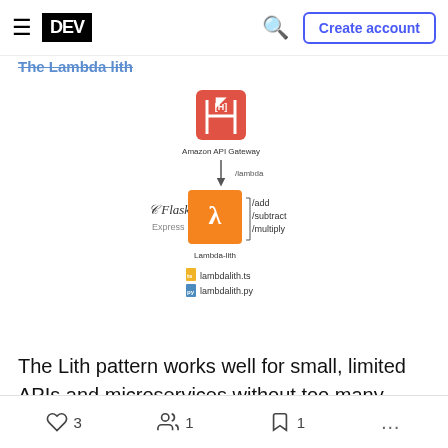DEV — Create account
The Lambda lith
[Figure (infographic): Diagram showing The Lambda Lith pattern: Amazon API Gateway at top connecting down via /lamba route to Lambda-lith function box, with Flask and Express logos on the left side, /add /subtract /multiply routes on the right, and lambdalith.ts and lambdalith.py files shown at bottom.]
The Lith pattern works well for small, limited APIs and microservices without too many routes or too much complex business logic. Everything is fit into a single lambda function and all routes are funneled to
♡ 3   1   1   ...